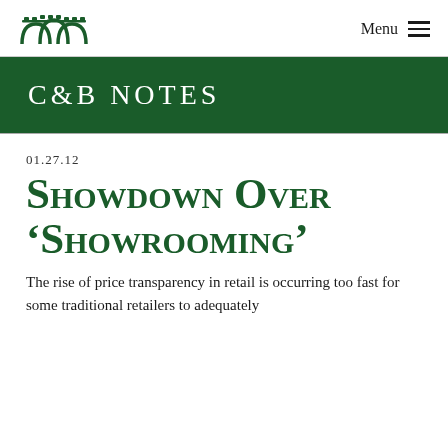C&B Notes | Menu
C&B Notes
01.27.12
Showdown Over ‘Showrooming’
The rise of price transparency in retail is occurring too fast for some traditional retailers to adequately